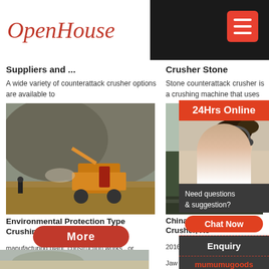OpenHouse
Suppliers and ...
Crusher Stone
A wide variety of counterattack crusher options are available to
Stone counterattack crusher is a crushing machine that uses
[Figure (photo): Heavy construction/mining equipment with crusher machine at a quarry site]
Environmental Protection Type Crushing Equipment
manufacturing plant, construction works , or building material shops.
China Mini manufacturer Crusher, Re
Crushing Screening Equipment China
2016-4-29 M
Jaw Crusher
[Figure (photo): Mining/crushing facility aerial view]
[Figure (photo): Customer service agent with headset - 24Hrs Online support]
24Hrs Online
Need questions & suggestion?
Chat Now
Enquiry
mumumugoods